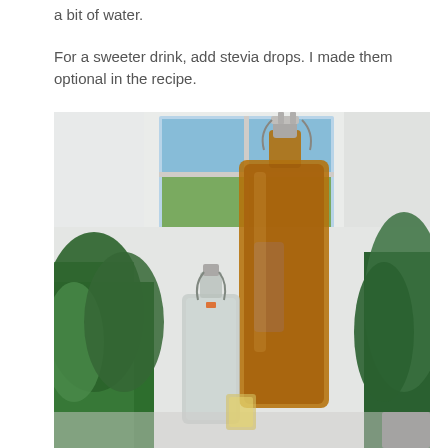a bit of water.
For a sweeter drink, add stevia drops. I made them optional in the recipe.
[Figure (photo): Two glass swing-top bottles on a table outdoors. The larger bottle in the foreground contains a dark amber/brown liquid (possibly kombucha or tea-based drink). The smaller bottle beside it appears empty or contains clear liquid. Green plants are visible on both sides and a white door with a window is in the background reflecting blue sky and trees.]